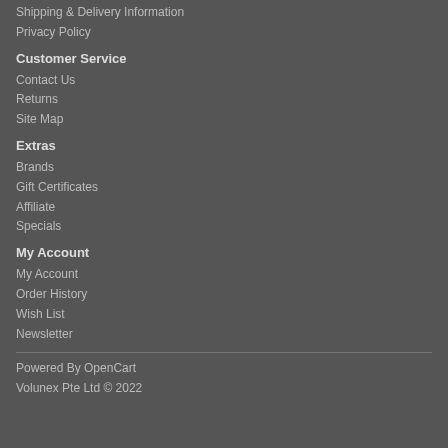Shipping & Delivery Information
Privacy Policy
Customer Service
Contact Us
Returns
Site Map
Extras
Brands
Gift Certificates
Affiliate
Specials
My Account
My Account
Order History
Wish List
Newsletter
Powered By OpenCart
Volunex Pte Ltd © 2022